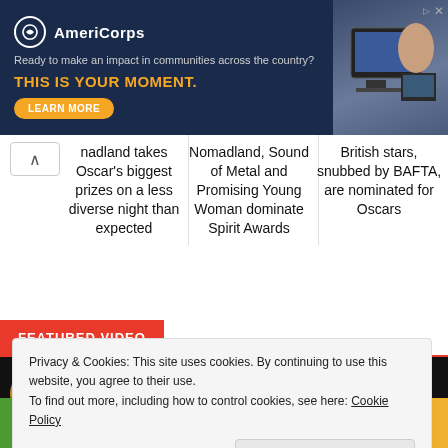[Figure (screenshot): AmeriCorps advertisement banner with dark navy background. Logo with white circle, tagline 'Ready to make an impact in communities across the country?', bold orange text 'THIS IS YOUR MOMENT.', orange 'LEARN MORE' pill button, and a photo of people at computers on the right.]
nadland takes Oscar's biggest prizes on a less diverse night than expected
Nomadland, Sound of Metal and Promising Young Woman dominate Spirit Awards
British stars, snubbed by BAFTA, are nominated for Oscars
FEATURED VIDEO
[Figure (screenshot): Video thumbnail showing partial title text 'What Can You See on World Book...' on dark background with colorful circular icon on left]
Privacy & Cookies: This site uses cookies. By continuing to use this website, you agree to their use.
To find out more, including how to control cookies, see here: Cookie Policy
Close and accept